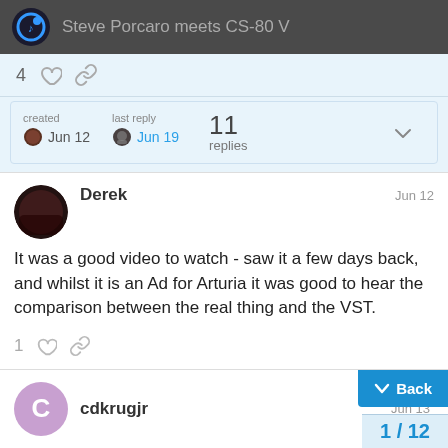Steve Porcaro meets CS-80 V
4 likes, link action row
| created | last reply | replies |
| --- | --- | --- |
| Jun 12 | Jun 19 | 11 |
Derek  Jun 12
It was a good video to watch - saw it a few days back, and whilst it is an Ad for Arturia it was good to hear the comparison between the real thing and the VST.
cdkrugjr  Jun 13
Back  1 / 12